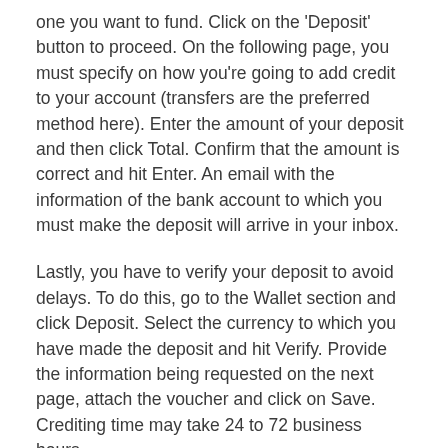one you want to fund. Click on the 'Deposit' button to proceed. On the following page, you must specify on how you're going to add credit to your account (transfers are the preferred method here). Enter the amount of your deposit and then click Total. Confirm that the amount is correct and hit Enter. An email with the information of the bank account to which you must make the deposit will arrive in your inbox.
Lastly, you have to verify your deposit to avoid delays. To do this, go to the Wallet section and click Deposit. Select the currency to which you have made the deposit and hit Verify. Provide the information being requested on the next page, attach the voucher and click on Save. Crediting time may take 24 to 72 business hours.
Awesome job! You now have deposited Fiat money on your BitInka account.